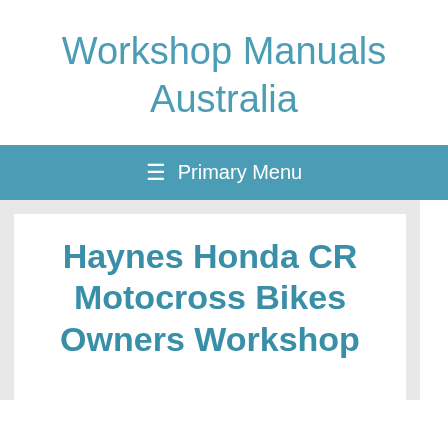Workshop Manuals Australia
≡  Primary Menu
Haynes Honda CR Motocross Bikes Owners Workshop